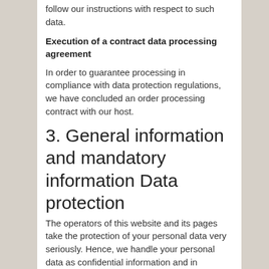follow our instructions with respect to such data.
Execution of a contract data processing agreement
In order to guarantee processing in compliance with data protection regulations, we have concluded an order processing contract with our host.
3. General information and mandatory information Data protection
The operators of this website and its pages take the protection of your personal data very seriously. Hence, we handle your personal data as confidential information and in compliance with the statutory data protection regulations and this Data Protection Declaration.
Whenever you use this website, a variety of personal information will be collected. Personal data comprises data that can be used to personally identify you. This Data Protection Declaration explains which data we collect as well as the purposes we use this data for. It also explains how, and for which purpose the